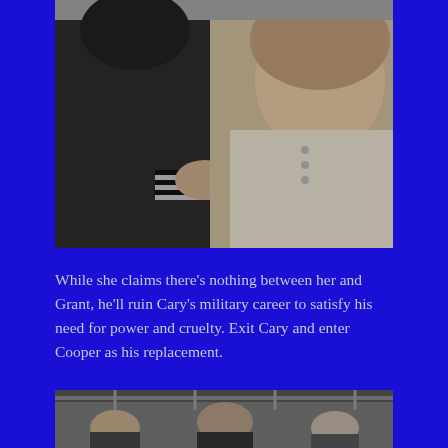[Figure (photo): Black and white film still showing a man in a dark military/naval uniform embracing a woman who is leaning back. The man's striped cuffs are visible. The woman has curly/wavy hair and is wearing a light-colored garment with buttons.]
While she claims there’s nothing between her and Grant, he’ll ruin Cary’s military career to satisfy his need for power and cruelty. Exit Cary and enter Cooper as his replacement.
[Figure (photo): Black and white film still showing people inside what appears to be a train or vehicle interior. A man is visible in the center, with others around him. Overhead metal bars or luggage racks are visible.]